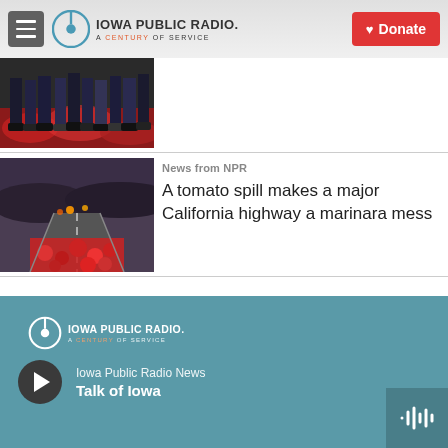Iowa Public Radio. A Century of Service | Donate
[Figure (photo): Partial image of people standing on a red patterned floor/carpet, legs and lower bodies visible]
[Figure (photo): A highway covered in spilled red tomatoes at dusk or dawn with glowing lights visible]
News from NPR
A tomato spill makes a major California highway a marinara mess
Iowa Public Radio. A Century of Service | Iowa Public Radio News | Talk of Iowa